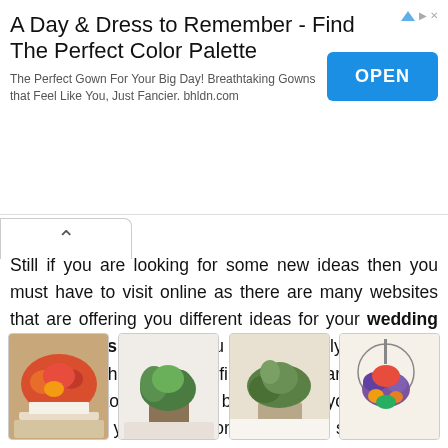[Figure (screenshot): Advertisement banner: 'A Day & Dress to Remember - Find The Perfect Color Palette' with OPEN button and bhldn.com text]
Still if you are looking for some new ideas then you must have to visit online as there are many websites that are offering you different ideas for your wedding centerpieces and that you can find really unique and appealing. There you can find a lot of variety and this makes you to choose the best one for your wedding. So what are you waiting for, just go and search these beautiful centerpieces and make your wedding beautiful.
[Figure (photo): Four thumbnail photos of wedding centerpieces: colorful floral arrangements on tables, potted green plant, greenery centerpiece, and hanging floral basket with purple and orange flowers]